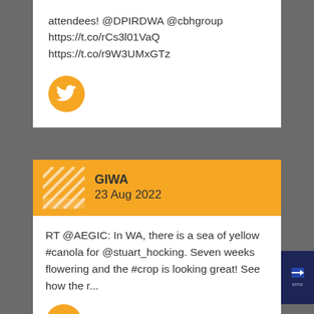attendees! @DPIRDWA @cbhgroup https://t.co/rCs3l01VaQ https://t.co/r9W3UMxGTz
[Figure (logo): Orange circle with white Twitter bird icon]
[Figure (logo): GIWA orange header with hatched logo image, name GIWA, date 23 Aug 2022]
RT @AEGIC: In WA, there is a sea of yellow #canola for @stuart_hocking. Seven weeks flowering and the #crop is looking great! See how the r...
[Figure (logo): Orange circle with white Twitter bird icon (partially visible at bottom)]